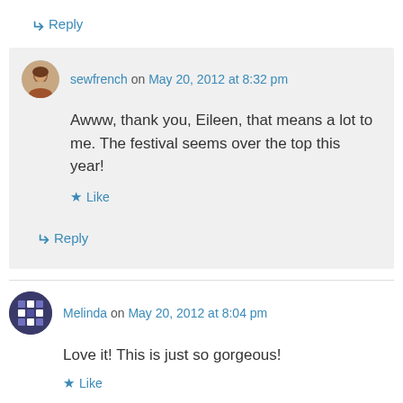↳ Reply
sewfrench on May 20, 2012 at 8:32 pm
Awww, thank you, Eileen, that means a lot to me. The festival seems over the top this year!
Like
↳ Reply
Melinda on May 20, 2012 at 8:04 pm
Love it! This is just so gorgeous!
Like